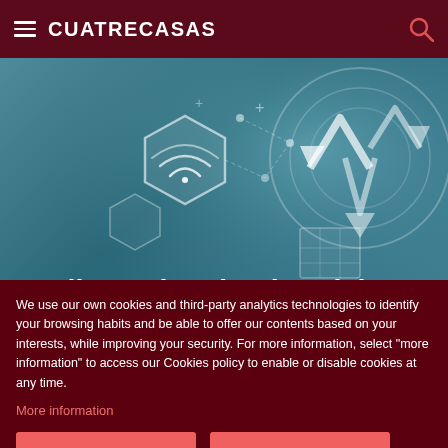CUATRECASAS
[Figure (illustration): Technology-themed hero image with dark teal/blue background showing hexagonal shapes with WiFi icons and circular arrows, representing intellectual property and technology concepts. Title text 'Intellectual and Industrial Property and Trade Secrets' overlaid in white.]
Intellectual and Industrial Property and Trade Secrets
We use our own cookies and third-party analytics technologies to identify your browsing habits and be able to offer our contents based on your interests, while improving your security. For more information, select "more information" to access our Cookies policy to enable or disable cookies at any time.
More information
Accept
Settings